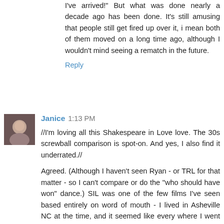I've arrived!" But what was done nearly a decade ago has been done. It's still amusing that people still get fired up over it, i mean both of them moved on a long time ago, although I wouldn't mind seeing a rematch in the future.
Reply
Janice  1:13 PM
//I'm loving all this Shakespeare in Love love. The 30s screwball comparison is spot-on. And yes, I also find it underrated.//
Agreed. (Although I haven't seen Ryan - or TRL for that matter - so I can't compare or do the "who should have won" dance.) SIL was one of the few films I've seen based entirely on word of mouth - I lived in Asheville NC at the time, and it seemed like every where I went (coffeehouses esp.) I kept picking up conversations that started "Have you seen Shakespeare in Love yet?"
I've never understood the backlash against the film (except